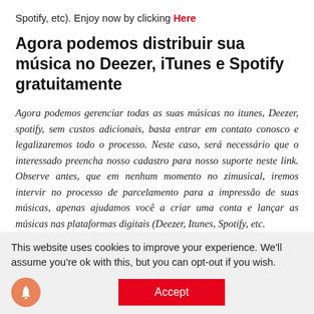Spotify, etc). Enjoy now by clicking Here
Agora podemos distribuir sua música no Deezer, iTunes e Spotify gratuitamente
Agora podemos gerenciar todas as suas músicas no itunes, Deezer, spotify, sem custos adicionais, basta entrar em contato conosco e legalizaremos todo o processo. Neste caso, será necessário que o interessado preencha nosso cadastro para nosso suporte neste link. Observe antes, que em nenhum momento no zimusical, iremos intervir no processo de parcelamento para a impressão de suas músicas, apenas ajudamos você a criar uma conta e lançar as músicas nas plataformas digitais (Deezer, Itunes, Spotify, etc.
This website uses cookies to improve your experience. We'll assume you're ok with this, but you can opt-out if you wish.